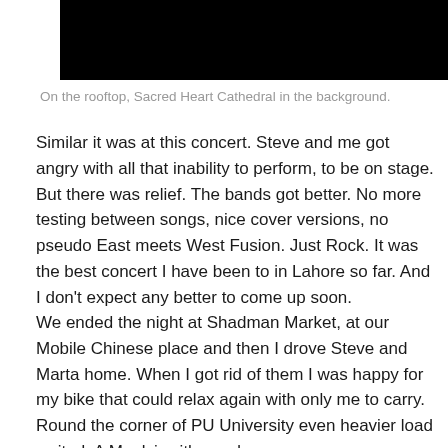[Figure (photo): Dark/black rectangular photo block at top of page, appears to be a rooftop scene]
On the rooftop, Sacred Heart Cathedral in the background.
Similar it was at this concert. Steve and me got angry with all that inability to perform, to be on stage. But there was relief. The bands got better. No more testing between songs, nice cover versions, no pseudo East meets West Fusion. Just Rock. It was the best concert I have been to in Lahore so far. And I don't expect any better to come up soon.
We ended the night at Shadman Market, at our Mobile Chinese place and then I drove Steve and Marta home. When I got rid of them I was happy for my bike that could relax again with only me to carry. Round the corner of PU University even heavier load waited. A Maulvi, with a red